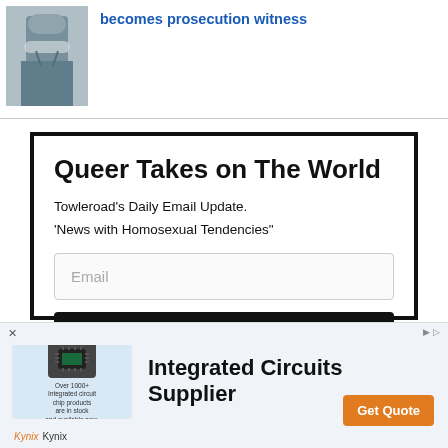[Figure (photo): Person wearing a mask in a suit, partial view]
becomes prosecution witness
Queer Takes on The World
Towleroad's Daily Email Update.
'News with Homosexual Tendencies"
[Figure (screenshot): Email input field with placeholder 'Email']
Subscribe
[Figure (infographic): Advertisement for Integrated Circuits Supplier by Kynix with chip image and Get Quote button]